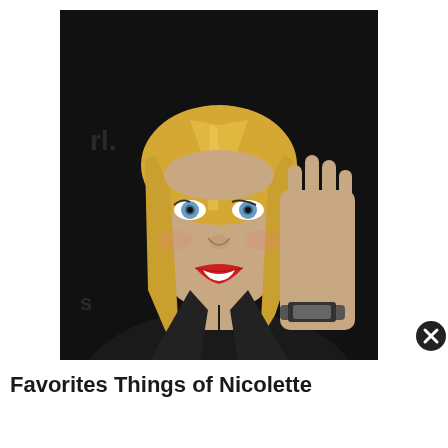[Figure (photo): A blonde woman with blue eyes and red lipstick wearing a black blazer, raising her right hand near her face, photographed against a dark background at what appears to be a formal event.]
Favorites Things of Nicolette